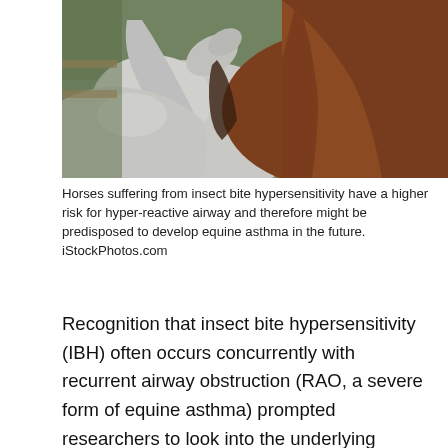[Figure (photo): Close-up photograph of two horses nuzzling each other — one gray/white and one brown/chestnut — with a blurred outdoor background.]
Horses suffering from insect bite hypersensitivity have a higher risk for hyper-reactive airway and therefore might be predisposed to develop equine asthma in the future. iStockPhotos.com
Recognition that insect bite hypersensitivity (IBH) often occurs concurrently with recurrent airway obstruction (RAO, a severe form of equine asthma) prompted researchers to look into the underlying association [Lanz, S.; Brunner, A.; Graubner, C.; Marti,, E.; and Gerber, V. Insect Bit Hypersensitivity in Horses is Associated with